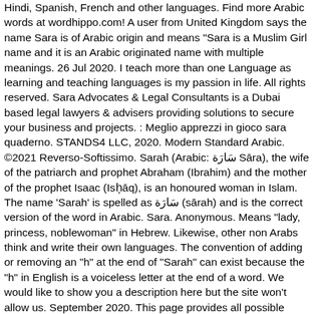Hindi, Spanish, French and other languages. Find more Arabic words at wordhippo.com! A user from United Kingdom says the name Sara is of Arabic origin and means "Sara is a Muslim Girl name and it is an Arabic originated name with multiple meanings. 26 Jul 2020. I teach more than one Language as learning and teaching languages is my passion in life. All rights reserved. Sara Advocates & Legal Consultants is a Dubai based legal lawyers & advisers providing solutions to secure your business and projects. : Meglio apprezzi in gioco sara quaderno. STANDS4 LLC, 2020. Modern Standard Arabic. ©2021 Reverso-Softissimo. Sarah (Arabic: سَارَة Sāra), the wife of the patriarch and prophet Abraham (Ibrahim) and the mother of the prophet Isaac (Isḥāq), is an honoured woman in Islam. The name 'Sarah' is spelled as سَارَة (sārah) and is the correct version of the word in Arabic. Sara. Anonymous. Means "lady, princess, noblewoman" in Hebrew. Likewise, other non Arabs think and write their own languages. The convention of adding or removing an "h" at the end of "Sarah" can exist because the "h" in English is a voiceless letter at the end of a word. We would like to show you a description here but the site won't allow us. September 2020. This page provides all possible translations of the word sara in the Arabic language. Sara translation in English - Arabic Reverso dictionary, see also 'scar',separate',star',safari', examples, definition